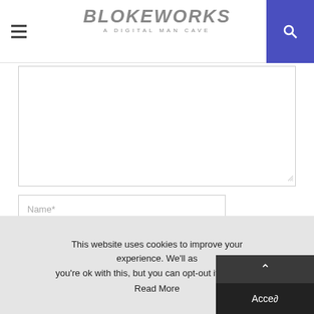BLOKEWORKS — A DIGITAL MAN CAVE
[Figure (screenshot): Comment form with textarea, name/email/website fields, and save checkbox]
Name*
Email*
Website
Save my name, email, and website in this browser for the next time I comment.
This website uses cookies to improve your experience. We'll assume you're ok with this, but you can opt-out if you wish.
Accept
Read More